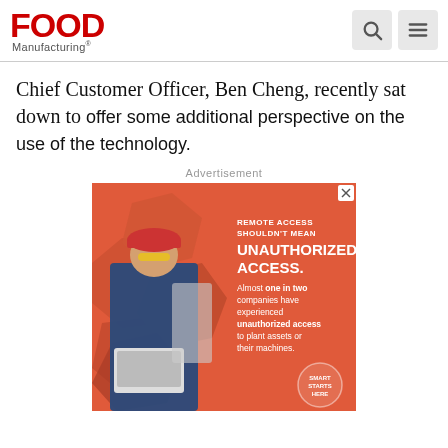Food Manufacturing
Chief Customer Officer, Ben Cheng, recently sat down to offer some additional perspective on the use of the technology.
Advertisement
[Figure (illustration): Advertisement for Smart Remote Access security. Orange/red background with a worker wearing safety gear working on machinery, surrounded by geometric hexagon shapes. Text reads: REMOTE ACCESS SHOULDN'T MEAN UNAUTHORIZED ACCESS. Almost one in two companies have experienced unauthorized access to plant assets or their machines. Smart badge in bottom right corner.]